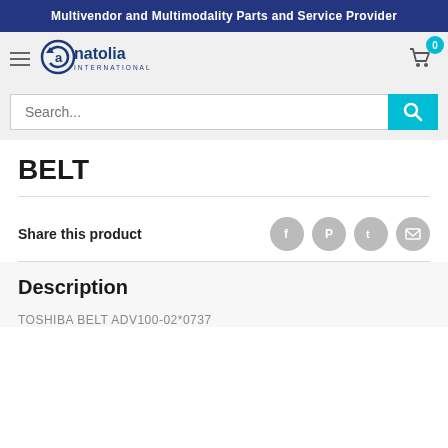Multivendor and Multimodality Parts and Service Provider
[Figure (logo): Anatolia International logo with circular arrow graphic and company name]
BELT
Share this product
Description
TOSHIBA BELT ADV100-02*0737